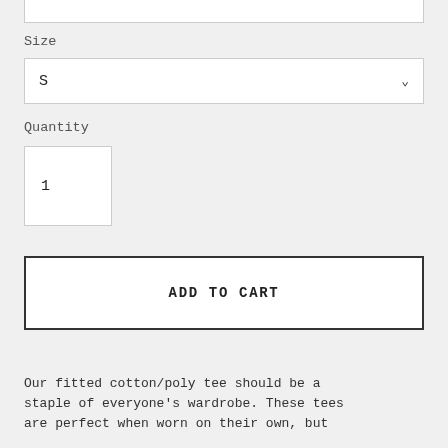Size
S
Quantity
1
ADD TO CART
Our fitted cotton/poly tee should be a staple of everyone's wardrobe. These tees are perfect when worn on their own, but